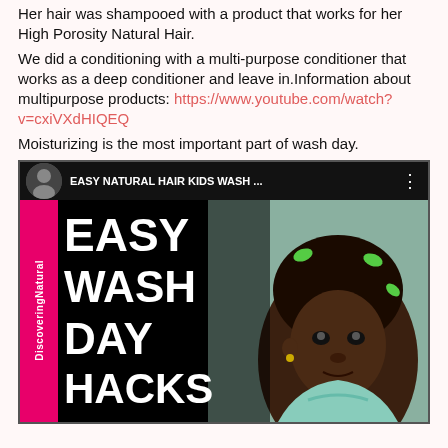Her hair was shampooed with a product that works for her High Porosity Natural Hair.
We did a conditioning with a multi-purpose conditioner that works as a deep conditioner and leave in.Information about multipurpose products: https://www.youtube.com/watch?v=cxiVXdHIQEQ
Moisturizing is the most important part of wash day.
[Figure (screenshot): YouTube video thumbnail for 'EASY NATURAL HAIR KIDS WASH ...' showing a young Black girl with natural hair styled with green hair ties. Left side has a pink vertical sidebar with 'DiscoveringNatural' text. Large bold white text overlaid reads 'EASY WASH DAY HACKS'. A play button is visible in the center.]